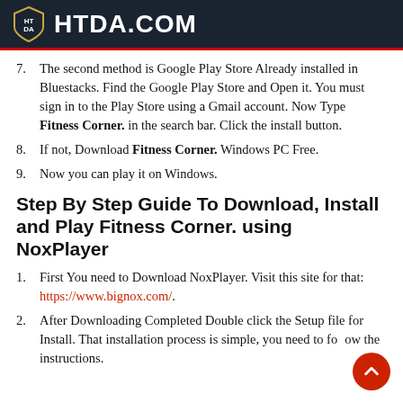HTDA.COM
7. The second method is Google Play Store Already installed in Bluestacks. Find the Google Play Store and Open it. You must sign in to the Play Store using a Gmail account. Now Type Fitness Corner. in the search bar. Click the install button.
8. If not, Download Fitness Corner. Windows PC Free.
9. Now you can play it on Windows.
Step By Step Guide To Download, Install and Play Fitness Corner. using NoxPlayer
1. First You need to Download NoxPlayer. Visit this site for that: https://www.bignox.com/.
2. After Downloading Completed Double click the Setup file for Install. That installation process is simple, you need to follow the instructions.